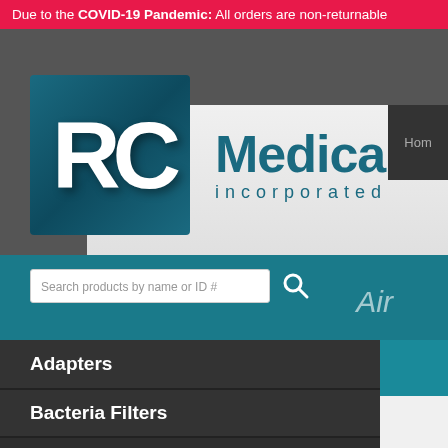Due to the COVID-19 Pandemic: All orders are non-returnable
[Figure (logo): RC Medical Incorporated logo with teal RC letters box and teal Medical incorporated text]
Hom
Search products by name or ID #
Air
Adapters
Bacteria Filters
Bags, Equipment Covers